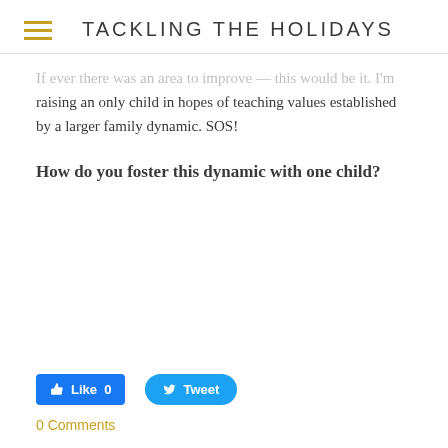TACKLING THE HOLIDAYS
If ever there was an area to improve — this would be it. I'm raising an only child in hopes of teaching values established by a larger family dynamic. SOS!
How do you foster this dynamic with one child?
Like 0   Tweet
0 Comments
Book Release!